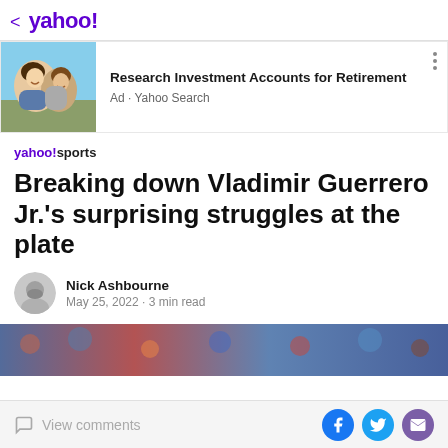< yahoo!
[Figure (advertisement): Ad banner with image of two happy young people outdoors and text: Research Investment Accounts for Retirement. Ad • Yahoo Search]
yahoo!sports
Breaking down Vladimir Guerrero Jr.'s surprising struggles at the plate
Nick Ashbourne
May 25, 2022  ·  3 min read
[Figure (photo): Partial image strip showing a crowd scene at a baseball game]
View comments | Facebook share | Twitter share | Email share